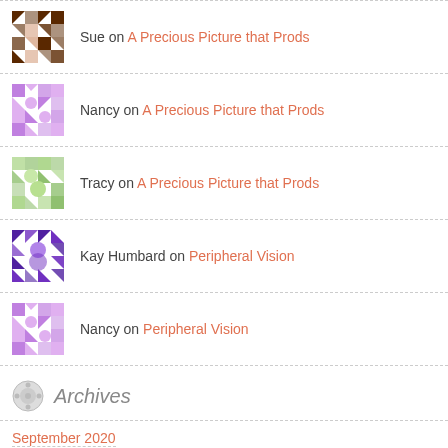Sue on A Precious Picture that Prods
Nancy on A Precious Picture that Prods
Tracy on A Precious Picture that Prods
Kay Humbard on Peripheral Vision
Nancy on Peripheral Vision
Archives
September 2020